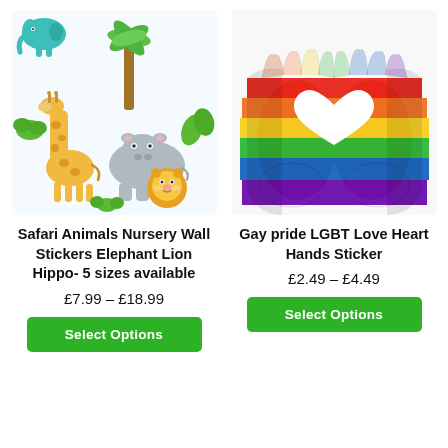[Figure (illustration): Safari animals nursery illustration: giraffe, hippo, lion, elephant, palm tree, tropical plants on white background]
Safari Animals Nursery Wall Stickers Elephant Lion Hippo- 5 sizes available
£7.99 – £18.99
Select Options
[Figure (photo): Two hands painted in rainbow pride colors forming a heart shape against white background]
Gay pride LGBT Love Heart Hands Sticker
£2.49 – £4.49
Select Options